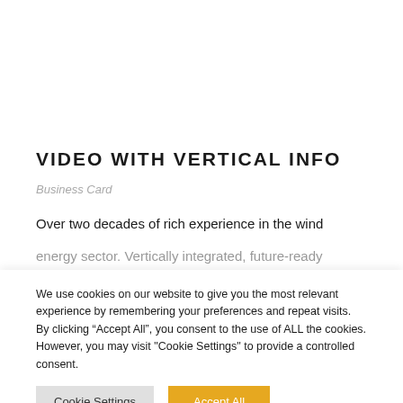VIDEO WITH VERTICAL INFO
Business Card
Over two decades of rich experience in the wind energy sector. Vertically integrated, future-ready
We use cookies on our website to give you the most relevant experience by remembering your preferences and repeat visits. By clicking “Accept All”, you consent to the use of ALL the cookies. However, you may visit "Cookie Settings" to provide a controlled consent.